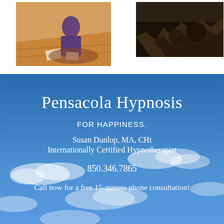[Figure (photo): Painting of a robed figure on a wooden floor with papers, warm orange-brown tones]
[Figure (photo): Dark landscape painting showing rocky cliffs or mountains, very dark tones]
Pensacola Hypnosis
FOR HAPPINESS.
Susan Dunlop, MA, CHt
Internationally Certified Hypnotherapist
850.346.7865
Call now for a free 15-minute phone consultation!